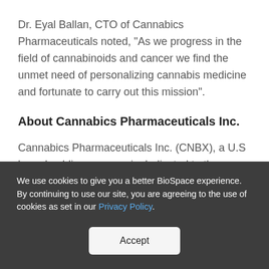Dr. Eyal Ballan, CTO of Cannabics Pharmaceuticals noted, "As we progress in the field of cannabinoids and cancer we find the unmet need of personalizing cannabis medicine and fortunate to carry out this mission".
About Cannabics Pharmaceuticals Inc.
Cannabics Pharmaceuticals Inc. (CNBX), a U.S based public company, is dedicated to the
We use cookies to give you a better BioSpace experience. By continuing to use our site, you are agreeing to the use of cookies as set in our Privacy Policy.